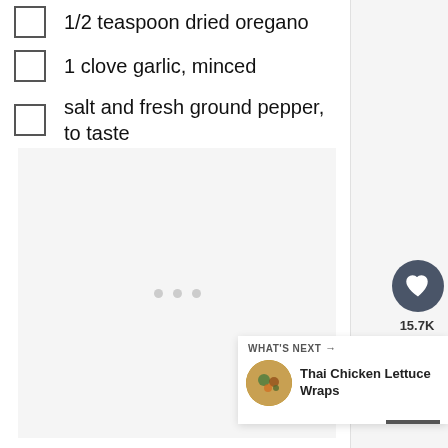1/2 teaspoon dried oregano
1 clove garlic, minced
salt and fresh ground pepper, to taste
[Figure (other): Ad placeholder area with three gray dots indicating loading or ad content]
15.7K